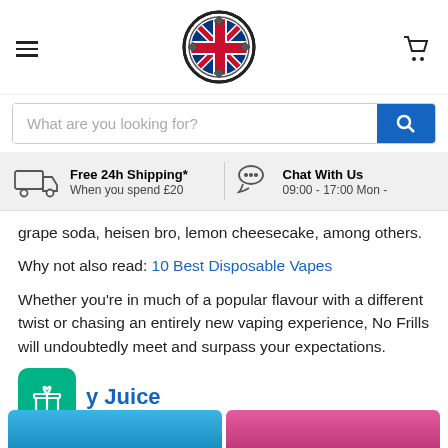[Figure (logo): Blowbell Vape Shop logo - circular badge with UK flag design]
[Figure (screenshot): Search bar with placeholder text 'What are you looking for?' and blue search button]
Free 24h Shipping* When you spend £20
Chat With Us 09:00 - 17:00 Mon -
grape soda, heisen bro, lemon cheesecake, among others.
Why not also read: 10 Best Disposable Vapes
Whether you're in much of a popular flavour with a different twist or chasing an entirely new vaping experience, No Frills will undoubtedly meet and surpass your expectations.
6. ...y Juice